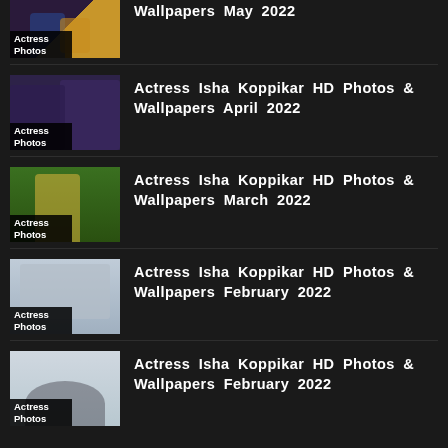Wallpapers May 2022
Actress Isha Koppikar HD Photos & Wallpapers April 2022
Actress Isha Koppikar HD Photos & Wallpapers March 2022
Actress Isha Koppikar HD Photos & Wallpapers February 2022
Actress Isha Koppikar HD Photos & Wallpapers February 2022